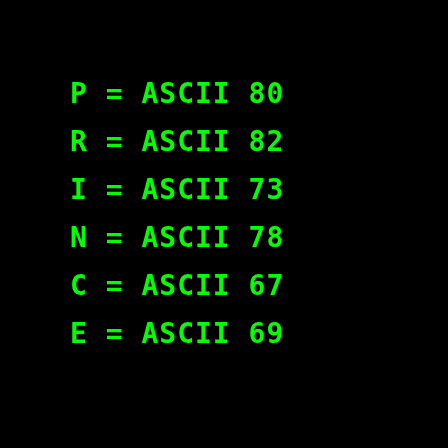P = ASCII 80
R = ASCII 82
I = ASCII 73
N = ASCII 78
C = ASCII 67
E = ASCII 69